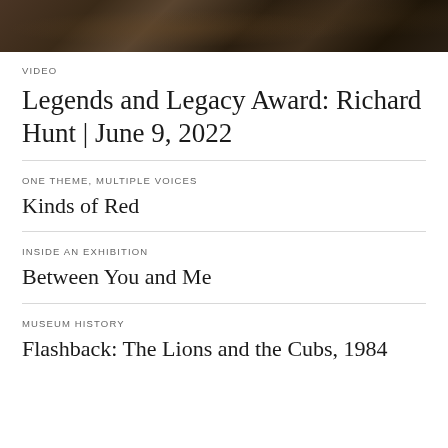[Figure (photo): Dark artistic photograph showing shadowy sculptural or organic forms in deep brown and black tones]
VIDEO
Legends and Legacy Award: Richard Hunt | June 9, 2022
ONE THEME, MULTIPLE VOICES
Kinds of Red
INSIDE AN EXHIBITION
Between You and Me
MUSEUM HISTORY
Flashback: The Lions and the Cubs, 1984